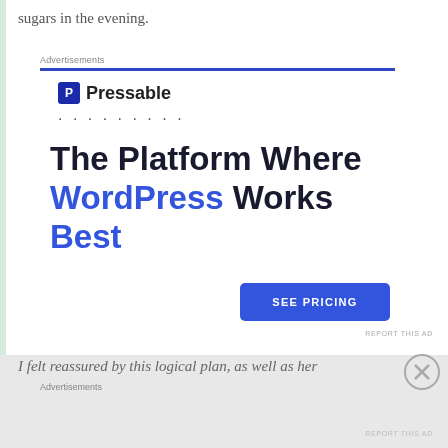sugars in the evening.
Advertisements
[Figure (screenshot): Pressable advertisement banner. Shows the Pressable logo (blue square with letter P), dotted loading indicator, large headline text reading 'The Platform Where WordPress Works Best' with 'WordPress' and 'Best' in blue, and a blue 'SEE PRICING' button. Includes small 'REPORT THIS AD' text.]
I felt reassured by this logical plan, as well as her
Advertisements